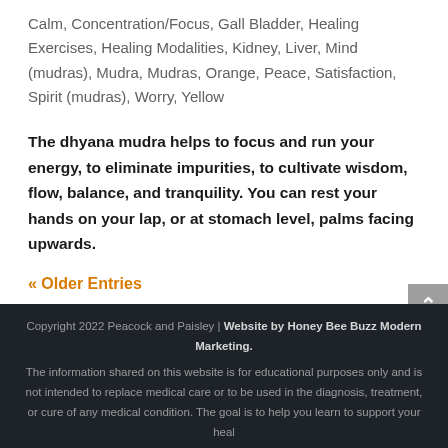Calm, Concentration/Focus, Gall Bladder, Healing Exercises, Healing Modalities, Kidney, Liver, Mind (mudras), Mudra, Mudras, Orange, Peace, Satisfaction, Spirit (mudras), Worry, Yellow
The dhyana mudra helps to focus and run your energy, to eliminate impurities, to cultivate wisdom, flow, balance, and tranquility. You can rest your hands on your lap, or at stomach level, palms facing upwards.
« Older Entries
Copyright 2022 Peacock and Paisley | Website by Honey Bee Buzz Modern Marketing. The information shared on this website is for educational purposes only and is not intended to replace medical care or to be used in the diagnosis, treatment, or cure of any medical condition. The goal is to help you learn to support your heal